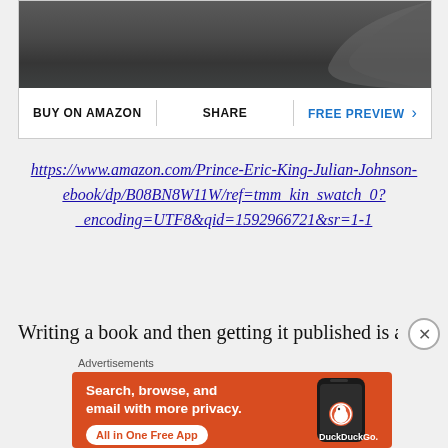[Figure (photo): Partial photo showing a dark gray/charcoal surface with a curved shape (possibly a shoe or product) visible in the upper right corner]
BUY ON AMAZON | SHARE | FREE PREVIEW >
https://www.amazon.com/Prince-Eric-King-Julian-Johnson-ebook/dp/B08BN8W11W/ref=tmm_kin_swatch_0?_encoding=UTF8&qid=1592966721&sr=1-1
Writing a book and then getting it published is a
[Figure (advertisement): DuckDuckGo advertisement with orange background. Text reads: Search, browse, and email with more privacy. All in One Free App. Shows phone mockup and DuckDuckGo logo.]